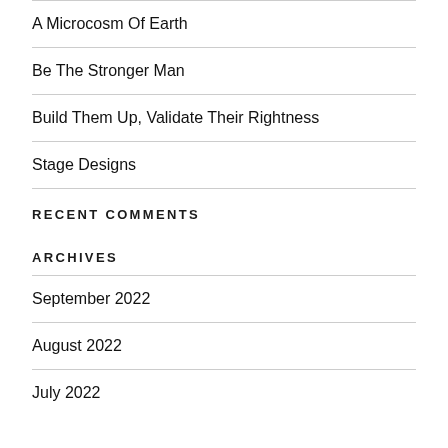A Microcosm Of Earth
Be The Stronger Man
Build Them Up, Validate Their Rightness
Stage Designs
RECENT COMMENTS
ARCHIVES
September 2022
August 2022
July 2022